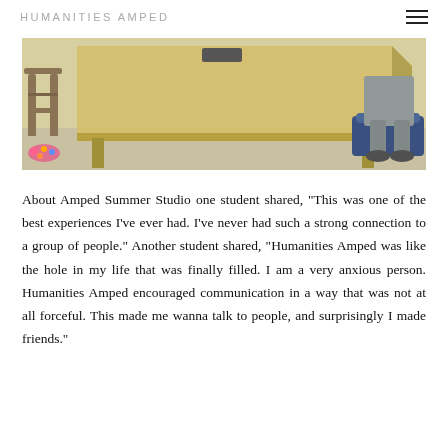HUMANITIES AMPED
[Figure (photo): Classroom scene showing a wooden table and chair on the left with a student wearing colorful shoes, and another student in grey pants sitting on a blue stool on the right.]
About Amped Summer Studio one student shared, "This was one of the best experiences I've ever had. I've never had such a strong connection to a group of people." Another student shared, "Humanities Amped was like the hole in my life that was finally filled. I am a very anxious person. Humanities Amped encouraged communication in a way that was not at all forceful. This made me wanna talk to people, and surprisingly I made friends."